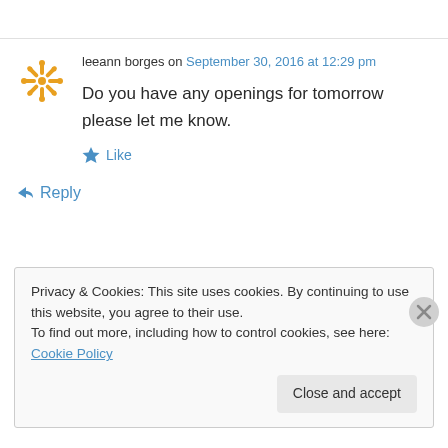leeann borges on September 30, 2016 at 12:29 pm
Do you have any openings for tomorrow please let me know.
Like
Reply
Privacy & Cookies: This site uses cookies. By continuing to use this website, you agree to their use. To find out more, including how to control cookies, see here: Cookie Policy
Close and accept